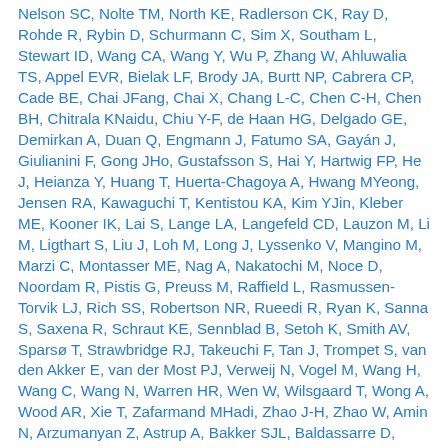Nelson SC, Nolte TM, North KE, Radlerson CK, Ray D, Rohde R, Rybin D, Schurmann C, Sim X, Southam L, Stewart ID, Wang CA, Wang Y, Wu P, Zhang W, Ahluwalia TS, Appel EVR, Bielak LF, Brody JA, Burtt NP, Cabrera CP, Cade BE, Chai JFang, Chai X, Chang L-C, Chen C-H, Chen BH, Chitrala KNaidu, Chiu Y-F, de Haan HG, Delgado GE, Demirkan A, Duan Q, Engmann J, Fatumo SA, Gayán J, Giulianini F, Gong JHo, Gustafsson S, Hai Y, Hartwig FP, He J, Heianza Y, Huang T, Huerta-Chagoya A, Hwang MYeong, Jensen RA, Kawaguchi T, Kentistou KA, Kim YJin, Kleber ME, Kooner IK, Lai S, Lange LA, Langefeld CD, Lauzon M, Li M, Ligthart S, Liu J, Loh M, Long J, Lyssenko V, Mangino M, Marzi C, Montasser ME, Nag A, Nakatochi M, Noce D, Noordam R, Pistis G, Preuss M, Raffield L, Rasmussen-Torvik LJ, Rich SS, Robertson NR, Rueedi R, Ryan K, Sanna S, Saxena R, Schraut KE, Sennblad B, Setoh K, Smith AV, Sparsø T, Strawbridge RJ, Takeuchi F, Tan J, Trompet S, van den Akker E, van der Most PJ, Verweij N, Vogel M, Wang H, Wang C, Wang N, Warren HR, Wen W, Wilsgaard T, Wong A, Wood AR, Xie T, Zafarmand MHadi, Zhao J-H, Zhao W, Amin N, Arzumanyan Z, Astrup A, Bakker SJL, Baldassarre D, Beekman M, Bergman RN, Bertoni A, Blüher M, Bonnycastle LL, Bornstein SR, Bowden DW, Cai Q, Campbell A, Campbell H, Chang YCheng, de Geus EJC, Dehghan A, Du S, Eiriksdottir G, Farmaki AEleni, Frånberg M, Fuchsberger C, Gao